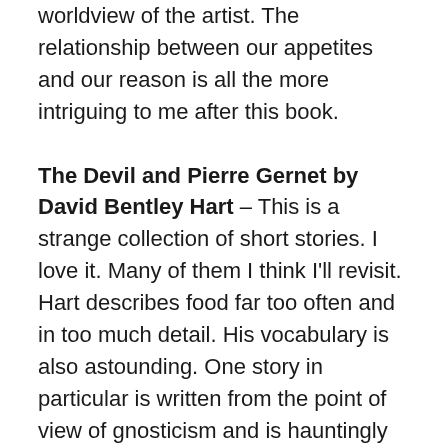worldview of the artist. The relationship between our appetites and our reason is all the more intriguing to me after this book.
The Devil and Pierre Gernet by David Bentley Hart – This is a strange collection of short stories. I love it. Many of them I think I'll revisit. Hart describes food far too often and in too much detail. His vocabulary is also astounding. One story in particular is written from the point of view of gnosticism and is hauntingly beautiful and ultimately dissatisfying and depressing. Mere Christianity by C.S. Lewis – This book is often over praised or under examined and unfairly dismissed. Lewis' case for Christianity remains good in my opinion. His undeniably skillful prose